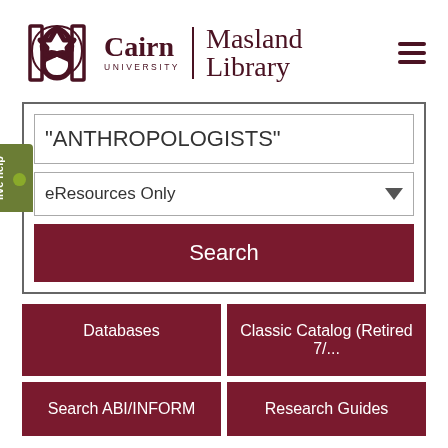[Figure (logo): Cairn University Masland Library logo with Celtic knot symbol and hamburger menu icon]
"ANTHROPOLOGISTS"
eResources Only
Search
Databases
Classic Catalog (Retired 7/...
Search ABI/INFORM
Research Guides